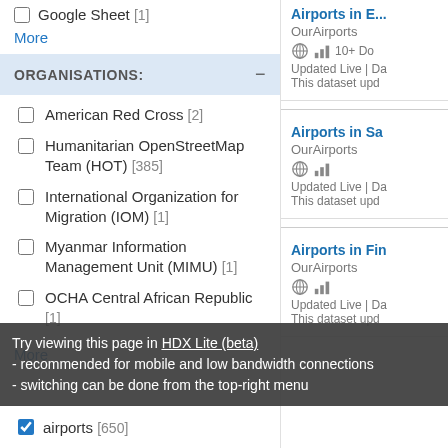Google Sheet [1]
More
ORGANISATIONS:
American Red Cross [2]
Humanitarian OpenStreetMap Team (HOT) [385]
International Organization for Migration (IOM) [1]
Myanmar Information Management Unit (MIMU) [1]
OCHA Central African Republic [1]
More
Try viewing this page in HDX Lite (beta)
- recommended for mobile and low bandwidth connections
- switching can be done from the top-right menu
airports [650]
Airports in E... OurAirports
Airports in Sa... OurAirports
Airports in Fin... OurAirports